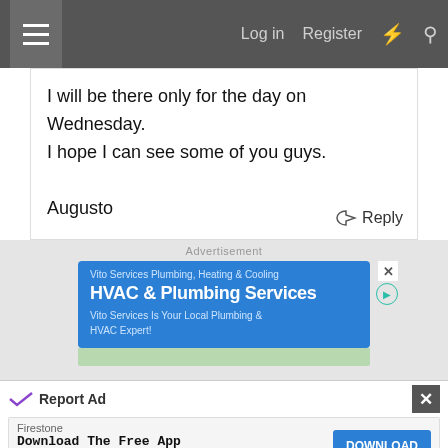Log in  Register
I will be there only for the day on Wednesday.
I hope I can see some of you guys.

Augusto
Reply
Advertisement
[Figure (screenshot): Blue advertisement banner for Vito Services Plumbing, Heating & Cooling - HVAC & Plumbing Services. Vito Services Is Your Local Plumbing & HVAC Expert!]
[Figure (screenshot): Bottom ad bar: Report Ad with X close button. Firestone - Download The Free App - DOWNLOAD button]